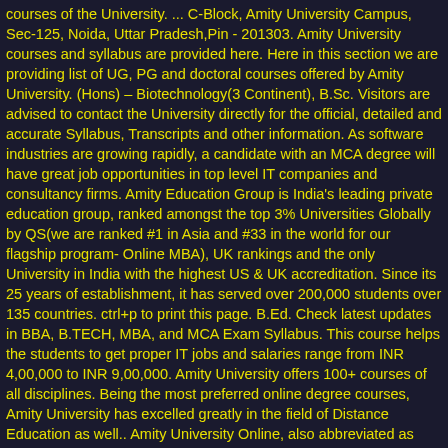courses of the University. ... C-Block, Amity University Campus, Sec-125, Noida, Uttar Pradesh,Pin - 201303. Amity University courses and syllabus are provided here. Here in this section we are providing list of UG, PG and doctoral courses offered by Amity University. (Hons) – Biotechnology(3 Continent), B.Sc. Visitors are advised to contact the University directly for the official, detailed and accurate Syllabus, Transcripts and other information. As software industries are growing rapidly, a candidate with an MCA degree will have great job opportunities in top level IT companies and consultancy firms. Amity Education Group is India's leading private education group, ranked amongst the top 3% Universities Globally by QS(we are ranked #1 in Asia and #33 in the world for our flagship program- Online MBA), UK rankings and the only University in India with the highest US & UK accreditation. Since its 25 years of establishment, it has served over 200,000 students over 135 countries. ctrl+p to print this page. B.Ed. Check latest updates in BBA, B.TECH, MBA, and MCA Exam Syllabus. This course helps the students to get proper IT jobs and salaries range from INR 4,00,000 to INR 9,00,000. Amity University offers 100+ courses of all disciplines. Being the most preferred online degree courses, Amity University has excelled greatly in the field of Distance Education as well.. Amity University Online, also abbreviated as AUO is the only internationally accredited online university with 40,000 plus strength of international universities.. you can download Amity university A.U.MCA 1st 2nd 3rd 4th 5th